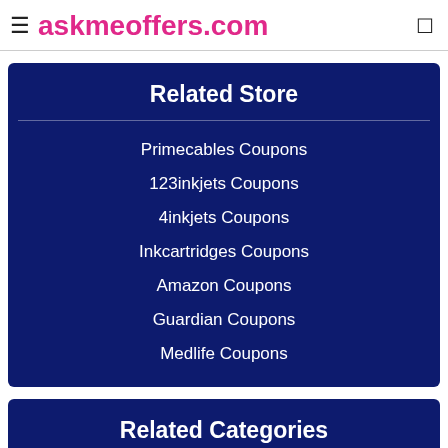≡ askmeoffers.com
Related Store
Primecables Coupons
123inkjets Coupons
4inkjets Coupons
Inkcartridges Coupons
Amazon Coupons
Guardian Coupons
Medlife Coupons
Related Categories
Peripherals Coupons